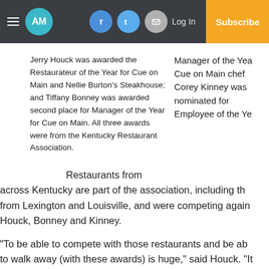AM | Log In | Subscribe
Jerry Houck was awarded the Restaurateur of the Year for Cue on Main and Nellie Burton’s Steakhouse; and Tiffany Bonney was awarded second place for Manager of the Year for Cue on Main. All three awards were from the Kentucky Restaurant Association.
Manager of the Year Cue on Main chef Corey Kinney was nominated for Employee of the Year
Restaurants from across Kentucky are part of the association, including th from Lexington and Louisville, and were competing again Houck, Bonney and Kinney.
“To be able to compete with those restaurants and be ab to walk away (with these awards) is huge,” said Houck. “It